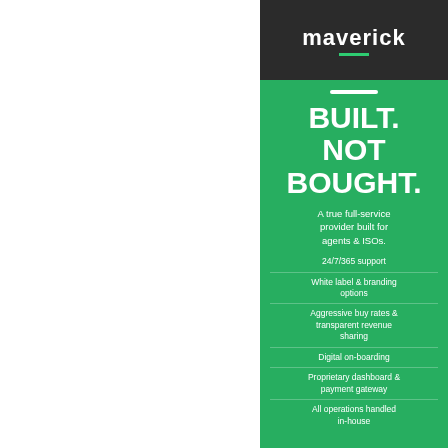[Figure (logo): Maverick logo with green underline on dark background]
BUILT. NOT BOUGHT.
A true full-service provider built for agents & ISOs.
24/7/365 support
White label & branding options
Aggressive buy rates & transparent revenue sharing
Digital on-boarding
Proprietary dashboard & payment gateway
All operations handled in-house